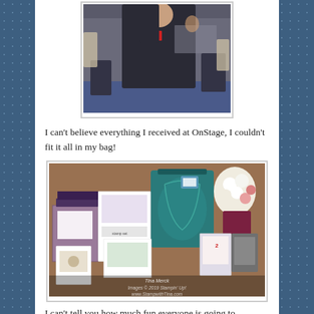[Figure (photo): Photo of a person in dark clothing at an event, with tables and chairs visible in background, person wearing a lanyard/badge]
I can't believe everything I received at OnStage, I couldn't fit it all in my bag!
[Figure (photo): Photo of stamping/craft supplies spread on a table including cards, stamp sets, a teal bag, flowers, and various Stampin' Up! products. Watermark reads: Tina Merck, Images © 2019 Stampin' Up!, www.StampwithTina.com]
I can't tell you how much fun everyone is going to